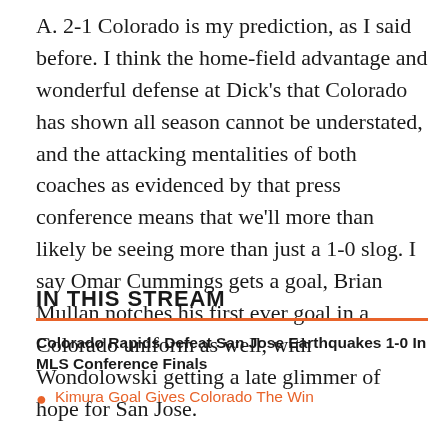A. 2-1 Colorado is my prediction, as I said before. I think the home-field advantage and wonderful defense at Dick's that Colorado has shown all season cannot be understated, and the attacking mentalities of both coaches as evidenced by that press conference means that we'll more than likely be seeing more than just a 1-0 slog. I say Omar Cummings gets a goal, Brian Mullan notches his first ever goal in a Colorado uniform as well, with Wondolowski getting a late glimmer of hope for San Jose.
IN THIS STREAM
Colorado Rapids Defeat San Jose Earthquakes 1-0 In MLS Conference Finals
Kimura Goal Gives Colorado The Win